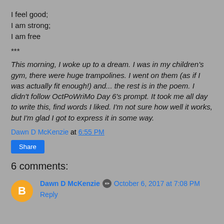I feel good;
I am strong;
I am free
***
This morning, I woke up to a dream. I was in my children's gym, there were huge trampolines. I went on them (as if I was actually fit enough!) and... the rest is in the poem. I didn't follow OctPoWriMo Day 6's prompt. It took me all day to write this, find words I liked. I'm not sure how well it works, but I'm glad I got to express it in some way.
Dawn D McKenzie at 6:55 PM
Share
6 comments:
Dawn D McKenzie · October 6, 2017 at 7:08 PM
Reply